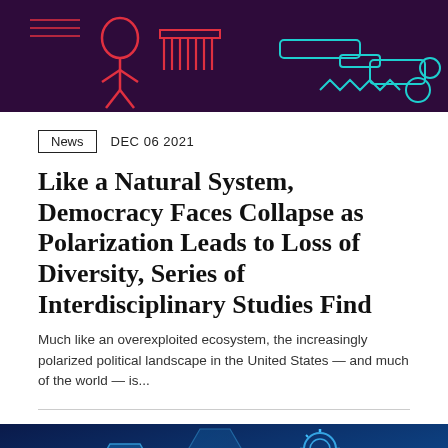[Figure (illustration): Abstract dark purple/maroon background with red and cyan neon line art depicting a person, a comb, gears and mechanical elements]
News  DEC 06 2021
Like a Natural System, Democracy Faces Collapse as Polarization Leads to Loss of Diversity, Series of Interdisciplinary Studies Find
Much like an overexploited ecosystem, the increasingly polarized political landscape in the United States — and much of the world — is...
[Figure (photo): Blue-toned digital technology background with hexagonal shapes, gears, and the text PRIVATE EQUITY partially visible]